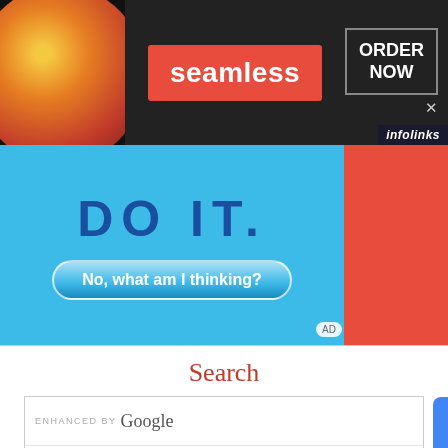[Figure (screenshot): Seamless food delivery ad banner with pizza image on left, red 'seamless' logo in center, and 'ORDER NOW' button on right. Dark background. Infolinks badge in bottom right.]
[Figure (screenshot): Advertisement with blue background showing 'DO IT.' text and a button labeled 'No, what am I thinking?'. Red 'AD' label in corner. Part of a webpage ad unit.]
Search
[Figure (screenshot): Google enhanced search box with 'ENHANCED BY Google' label and a blue search button on the right.]
[Figure (screenshot): Infolinks ad badge and NFL Gear advertisement showing '50% OFF' with text 'Official NFL Gear', 'Get Your Favorite Team's Gear Here', 'www.nflshop.com'. Navigation arrow button partially visible.]